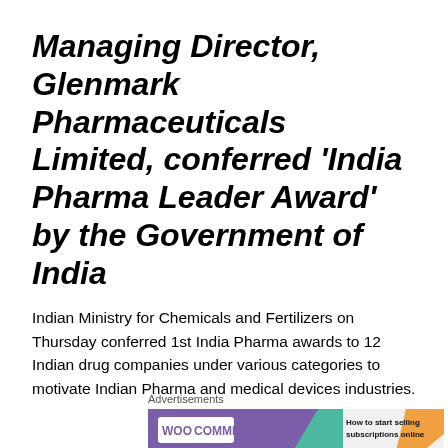Managing Director, Glenmark Pharmaceuticals Limited, conferred 'India Pharma Leader Award' by the Government of India
Indian Ministry for Chemicals and Fertilizers on Thursday conferred 1st India Pharma awards to 12 Indian drug companies under various categories to motivate Indian Pharma and medical devices industries.
Advertisements
[Figure (infographic): WooCommerce advertisement banner with purple background, teal accent shape, and text 'How to start selling subscriptions online']